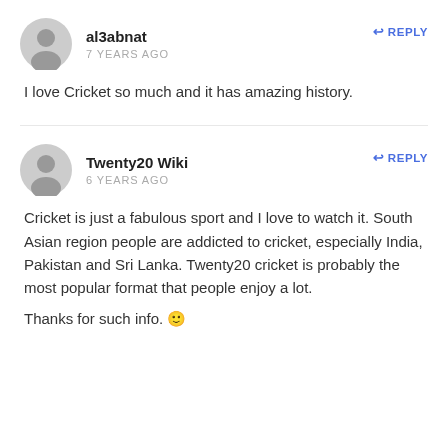al3abnat
7 YEARS AGO
REPLY
I love Cricket so much and it has amazing history.
Twenty20 Wiki
6 YEARS AGO
REPLY
Cricket is just a fabulous sport and I love to watch it. South Asian region people are addicted to cricket, especially India, Pakistan and Sri Lanka. Twenty20 cricket is probably the most popular format that people enjoy a lot.
Thanks for such info. 🙂